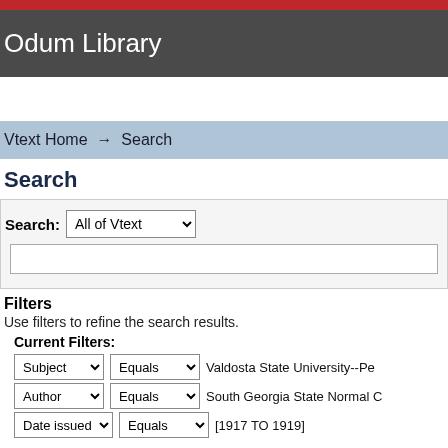Odum Library
Vtext Home → Search
Search
Search: All of Vtext
Filters
Use filters to refine the search results.
Current Filters:
Subject | Equals | Valdosta State University--Pe
Author | Equals | South Georgia State Normal C
Date issued | Equals | [1917 TO 1919]